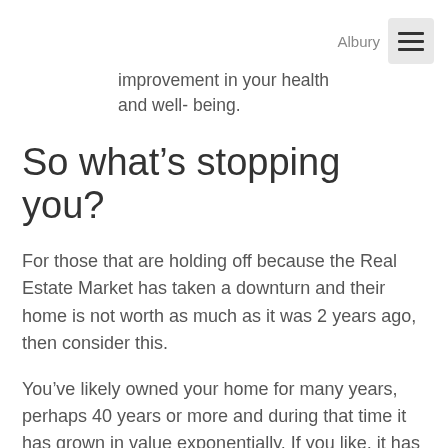Albury
improvement in your health and well- being.
So what’s stopping you?
For those that are holding off because the Real Estate Market has taken a downturn and their home is not worth as much as it was 2 years ago, then consider this.
You’ve likely owned your home for many years, perhaps 40 years or more and during that time it has grown in value exponentially. If you like, it has already provided for your retirement so why wait